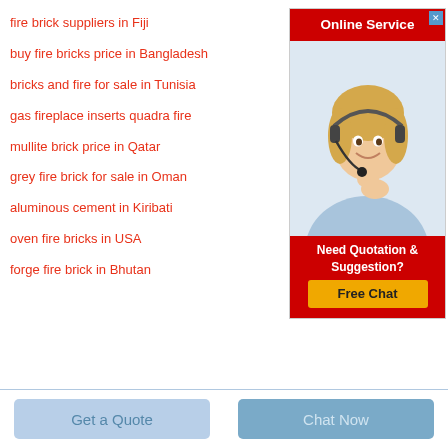fire brick suppliers in Fiji
buy fire bricks price in Bangladesh
bricks and fire for sale in Tunisia
gas fireplace inserts quadra fire
mullite brick price in Qatar
grey fire brick for sale in Oman
aluminous cement in Kiribati
oven fire bricks in USA
forge fire brick in Bhutan
[Figure (illustration): Online Service advertisement banner with a woman wearing a headset, red header saying 'Online Service', and a red footer with 'Need Quotation & Suggestion?' and a yellow 'Free Chat' button]
Get a Quote
Chat Now